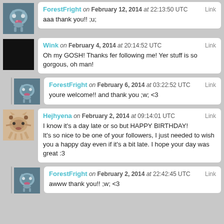ForestFright on February 12, 2014 at 22:13:50 UTC  Link
aaa thank you!! ;u;
Wink on February 4, 2014 at 20:14:52 UTC  Link
Oh my GOSH! Thanks fer following me! Yer stuff is so gorgous, oh man!
ForestFright on February 6, 2014 at 03:22:52 UTC  Link
youre welcome!! and thank you ;w; <3
Hejhyena on February 2, 2014 at 09:14:01 UTC  Link
I know it's a day late or so but HAPPY BIRTHDAY!
It's so nice to be one of your followers, I just needed to wish you a happy day even if it's a bit late. I hope your day was great :3
ForestFright on February 2, 2014 at 22:42:45 UTC  Link
awww thank you!! ;w; <3